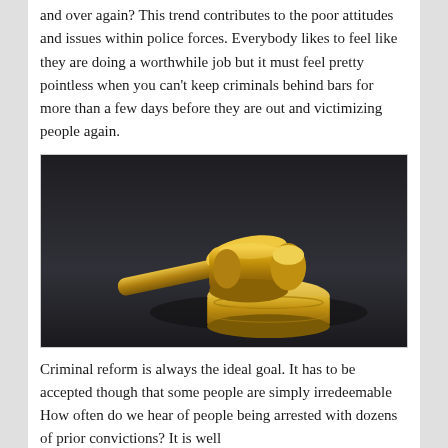and over again? This trend contributes to the poor attitudes and issues within police forces. Everybody likes to feel like they are doing a worthwhile job but it must feel pretty pointless when you can't keep criminals behind bars for more than a few days before they are out and victimizing people again.
[Figure (photo): A golden gavel resting on a sound block, photographed on a dark grey background. The gavel and block are polished gold/brass colored.]
Criminal reform is always the ideal goal. It has to be accepted though that some people are simply irredeemable How often do we hear of people being arrested with dozens of prior convictions? It is well